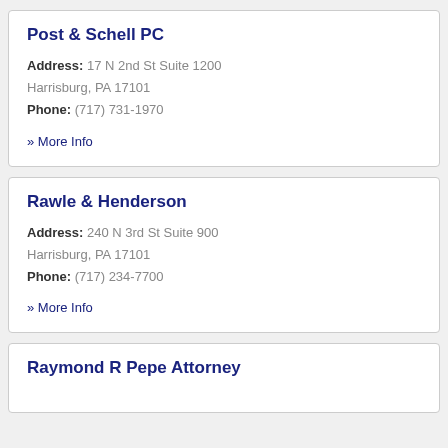Post & Schell PC
Address: 17 N 2nd St Suite 1200 Harrisburg, PA 17101
Phone: (717) 731-1970
» More Info
Rawle & Henderson
Address: 240 N 3rd St Suite 900 Harrisburg, PA 17101
Phone: (717) 234-7700
» More Info
Raymond R Pepe Attorney